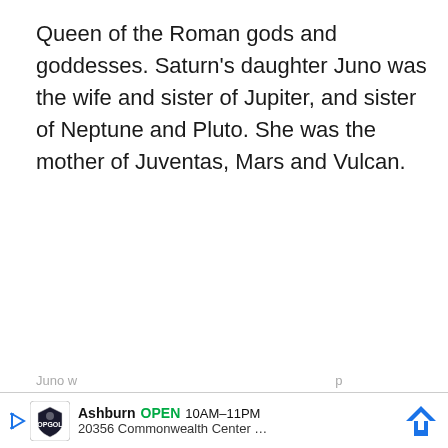Queen of the Roman gods and goddesses. Saturn's daughter Juno was the wife and sister of Jupiter, and sister of Neptune and Pluto. She was the mother of Juventas, Mars and Vulcan.
Juno w... p  attribu... Juno  Ashburn OPEN 10AM–11PM  20356 Commonwealth Center ...